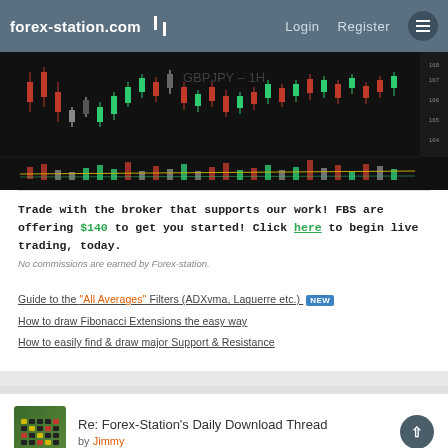forex-station.com | Login | Register
[Figure (screenshot): GBPJPY candlestick chart with volume histogram at the bottom, dark background, showing price movements with red/green/white candles and colored volume bars.]
Trade with the broker that supports our work! FBS are offering $140 to get you started! Click here to begin live trading, today.
No commissions are earned by Forex-station.
Guide to the "All Averages" Filters (ADXvma, Laguerre etc.) [NEW]
How to draw Fibonacci Extensions the easy way
How to easily find & draw major Support & Resistance
Re: Forex-Station's Daily Download Thread by Jimmy